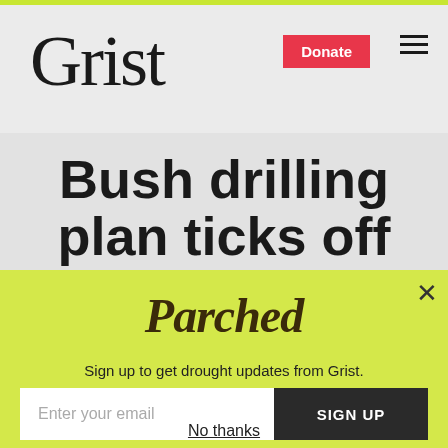Grist
Bush drilling plan ticks off many New Mexicans and tickles
[Figure (screenshot): Modal popup with yellow-green background. Title 'Parched' in decorative serif font. Text 'Sign up to get drought updates from Grist.' Email input field with placeholder 'Enter your email' and a dark 'SIGN UP' button. 'No thanks' link at bottom.]